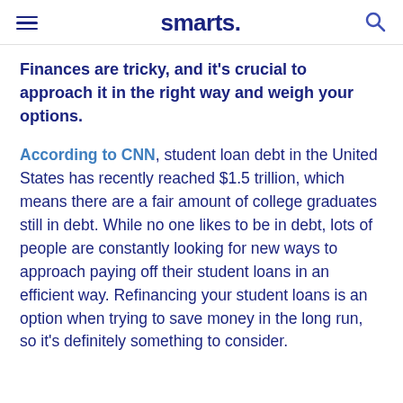smarts.
Finances are tricky, and it's crucial to approach it in the right way and weigh your options.
According to CNN, student loan debt in the United States has recently reached $1.5 trillion, which means there are a fair amount of college graduates still in debt. While no one likes to be in debt, lots of people are constantly looking for new ways to approach paying off their student loans in an efficient way. Refinancing your student loans is an option when trying to save money in the long run, so it's definitely something to consider.